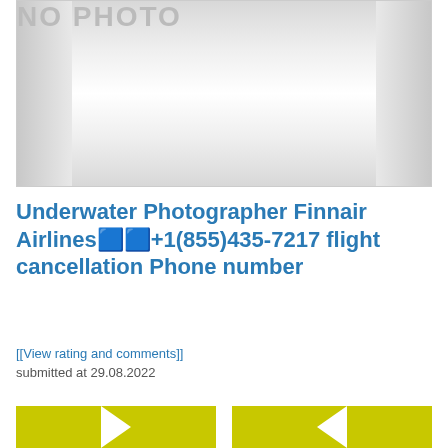[Figure (photo): Placeholder image with 'NO PHOTO' text on a grey gradient background with darker side panels]
Underwater Photographer Finnair Airlines🟦🟦+1(855)435-7217 flight cancellation Phone number
[[View rating and comments]]
submitted at 29.08.2022
[Figure (photo): Partial yellow-green background images at bottom of page with white arrow shapes]